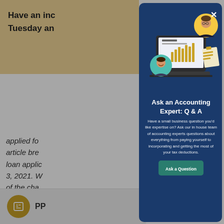Have an inc
Tuesday an
applied fo
article bre
loan applic
3, 2021. W
of the cha
[Figure (screenshot): Bottom bar with PPP loan icon and label PP]
[Figure (illustration): Modal dialog on dark blue background showing a laptop with accounting dashboard, two circular headshots of accounting experts, and a document/invoice icon]
Ask an Accounting Expert: Q & A
Have a small business question you'd like expertise on? Ask our in house team of accounting experts questions about everything from paying yourself to incorporating and getting the most of your tax deductions.
Ask a Question